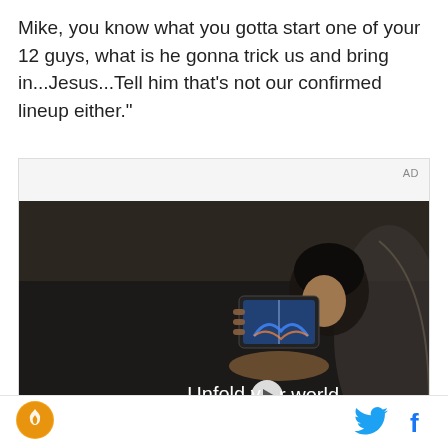Mike, you know what you gotta start one of your 12 guys, what is he gonna trick us and bring in...Jesus...Tell him that's not our confirmed lineup either."
[Figure (screenshot): Advertisement video player showing a person holding a Samsung foldable phone in a car interior, with text 'Unfold your world' and a play button overlay. AD label in top right corner.]
[Figure (logo): Orange circular logo with flame/torch icon in the bottom footer bar]
[Figure (other): Twitter bird icon and Facebook 'f' icon in blue, in the bottom right footer]